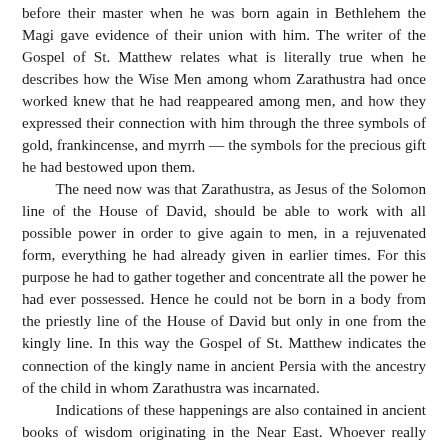before their master when he was born again in Bethlehem the Magi gave evidence of their union with him. The writer of the Gospel of St. Matthew relates what is literally true when he describes how the Wise Men among whom Zarathustra had once worked knew that he had reappeared among men, and how they expressed their connection with him through the three symbols of gold, frankincense, and myrrh — the symbols for the precious gift he had bestowed upon them. The need now was that Zarathustra, as Jesus of the Solomon line of the House of David, should be able to work with all possible power in order to give again to men, in a rejuvenated form, everything he had already given in earlier times. For this purpose he had to gather together and concentrate all the power he had ever possessed. Hence he could not be born in a body from the priestly line of the House of David but only in one from the kingly line. In this way the Gospel of St. Matthew indicates the connection of the kingly name in ancient Persia with the ancestry of the child in whom Zarathustra was incarnated. Indications of these happenings are also contained in ancient books of wisdom originating in the Near East. Whoever really understands these books of wisdom reads